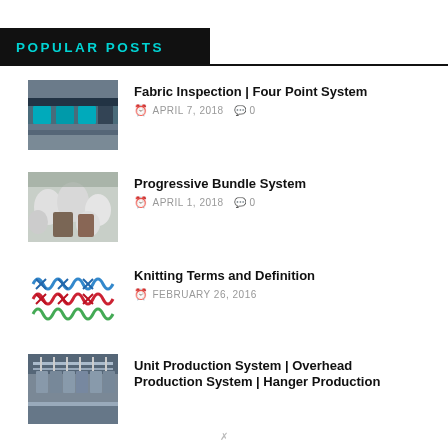POPULAR POSTS
[Figure (photo): Fabric inspection machine with conveyor and blue rollers]
Fabric Inspection | Four Point System
APRIL 7, 2018  0
[Figure (photo): Workers handling white fabric bundles in a factory]
Progressive Bundle System
APRIL 1, 2018  0
[Figure (illustration): Colorful knitting stitch pattern diagram in blue, red, and green]
Knitting Terms and Definition
FEBRUARY 26, 2016
[Figure (photo): Overhead conveyor production system in a garment factory]
Unit Production System | Overhead Production System | Hanger Production